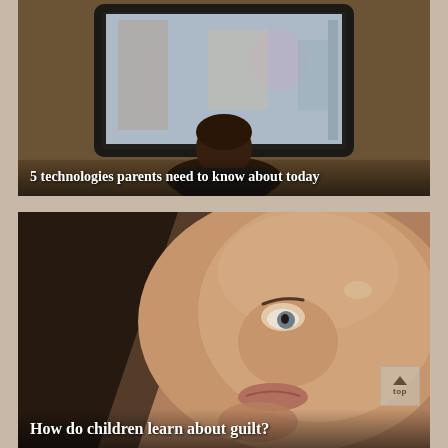[Figure (photo): Child seen from behind, sitting in front of a large television screen showing colorful content. Dark room setting.]
5 technologies parents need to know about today
[Figure (photo): Close-up of a young child's face from a tilted angle, looking sideways with large expressive eyes. Warm brown tones.]
How do children learn about guilt?